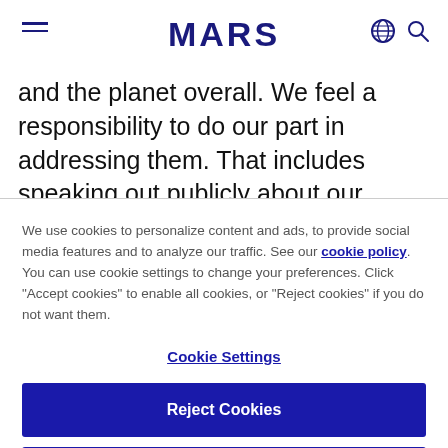MARS
and the planet overall. We feel a responsibility to do our part in addressing them. That includes speaking out publicly about our stance on these issues and
We use cookies to personalize content and ads, to provide social media features and to analyze our traffic. See our cookie policy. You can use cookie settings to change your preferences. Click "Accept cookies" to enable all cookies, or "Reject cookies" if you do not want them.
Cookie Settings
Reject Cookies
Accept Cookies